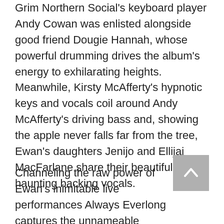Grim Northern Social's keyboard player Andy Cowan was enlisted alongside good friend Dougie Hannah, whose powerful drumming drives the album's energy to exhilarating heights. Meanwhile, Kirsty McAfferty's hypnotic keys and vocals coil around Andy McAfferty's driving bass and, showing the apple never falls far from the tree, Ewan's daughters Jenijo and Ellijai MacFarlane share their beautiful haunting backing vocals.
Channeling the raw power of Ewan's inimitable live performances Always Everlong captures the unnameable feeling all great musicians elicit when you find yourself in the presence of something truly special. Whether felt by